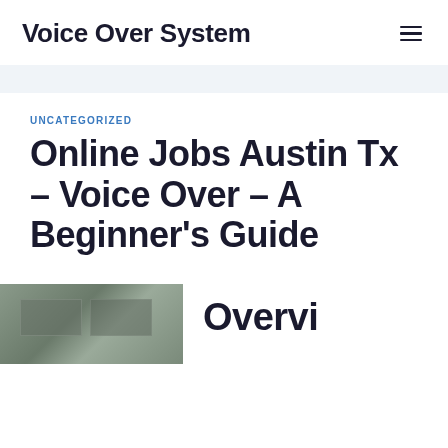Voice Over System
UNCATEGORIZED
Online Jobs Austin Tx – Voice Over – A Beginner's Guide
[Figure (photo): A dark-toned photo showing what appears to be a recording studio or desk setup with equipment, partially visible at the bottom of the page]
Overvi